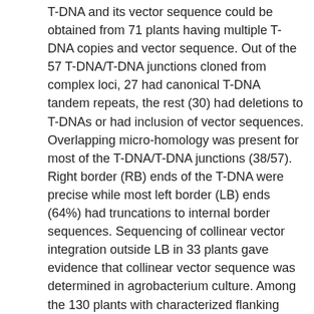T-DNA and its vector sequence could be obtained from 71 plants having multiple T-DNA copies and vector sequence. Out of the 57 T-DNA/T-DNA junctions cloned from complex loci, 27 had canonical T-DNA tandem repeats, the rest (30) had deletions to T-DNAs or had inclusion of vector sequences. Overlapping micro-homology was present for most of the T-DNA/T-DNA junctions (38/57). Right border (RB) ends of the T-DNA were precise while most left border (LB) ends (64%) had truncations to internal border sequences. Sequencing of collinear vector integration outside LB in 33 plants gave evidence that collinear vector sequence was determined in agrobacterium culture. Among the 130 plants with characterized flanking sequences, 12% had the transgene integrated into coding sequences, 12% into repetitive sequences, 7% into rDNAs. Interestingly, 7% had the transgene integrated into chloroplast derived sequences. Nucleotide sequence comparison of target sites in cotton genome before and after T-DNA integration revealed overlapping microhomology between target sites and the T-DNA (8/8), deletions to cotton genome in most cases studied (7/8) and some also had filler sequences (3/8). This information on T-DNA integration in cotton will facilitate functional genomic studies and further crop